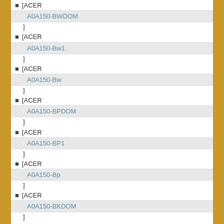[ACER
  A0A150-BWDOM
]
[ACER
  A0A150-Bw1
]
[ACER
  A0A150-Bw
]
[ACER
  A0A150-BPDOM
]
[ACER
  A0A150-BP1
]
[ACER
  A0A150-Bp
]
[ACER
  A0A150-BKDOM
]
[ACER
  A0A150-Bk1
]
[ACER
  A0A150-Bk